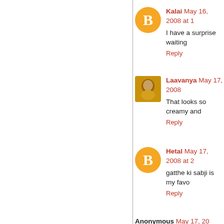Kalai May 16, 2008 at 1... I have a surprise waiting Reply
Laavanya May 17, 2008... That looks so creamy and... Reply
Hetal May 17, 2008 at 2... gatthe ki sabji is my favo... Reply
Anonymous May 17, 20... Great entry lavi. Looks a...